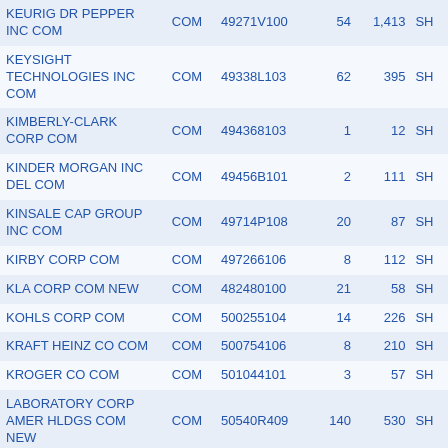| KEURIG DR PEPPER INC COM | COM | 49271V100 | 54 | 1,413 | SH |
| KEYSIGHT TECHNOLOGIES INC COM | COM | 49338L103 | 62 | 395 | SH |
| KIMBERLY-CLARK CORP COM | COM | 494368103 | 1 | 12 | SH |
| KINDER MORGAN INC DEL COM | COM | 49456B101 | 2 | 111 | SH |
| KINSALE CAP GROUP INC COM | COM | 49714P108 | 20 | 87 | SH |
| KIRBY CORP COM | COM | 497266106 | 8 | 112 | SH |
| KLA CORP COM NEW | COM | 482480100 | 21 | 58 | SH |
| KOHLS CORP COM | COM | 500255104 | 14 | 226 | SH |
| KRAFT HEINZ CO COM | COM | 500754106 | 8 | 210 | SH |
| KROGER CO COM | COM | 501044101 | 3 | 57 | SH |
| LABORATORY CORP AMER HLDGS COM NEW | COM | 50540R409 | 140 | 530 | SH |